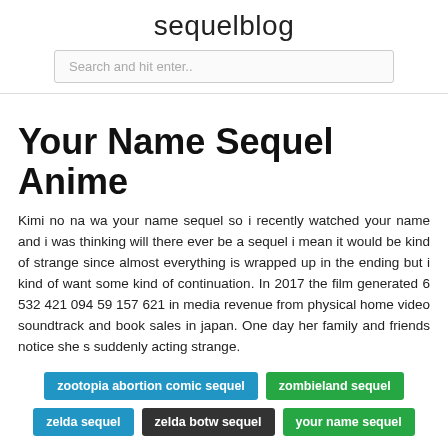sequelblog
Search and hit enter..
Your Name Sequel Anime
Kimi no na wa your name sequel so i recently watched your name and i was thinking will there ever be a sequel i mean it would be kind of strange since almost everything is wrapped up in the ending but i kind of want some kind of continuation. In 2017 the film generated 6 532 421 094 59 157 621 in media revenue from physical home video soundtrack and book sales in japan. One day her family and friends notice she s suddenly acting strange.
zootopia abortion comic sequel
zombieland sequel
zelda sequel
zelda botw sequel
your name sequel